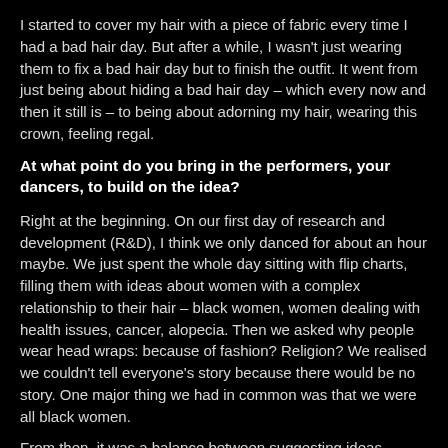I started to cover my hair with a piece of fabric every time I had a bad hair day. But after a while, I wasn't just wearing them to fix a bad hair day but to finish the outfit. It went from just being about hiding a bad hair day – which every now and then it still is – to being about adorning my hair, wearing this crown, feeling regal.
At what point do you bring in the performers, your dancers, to build on the idea?
Right at the beginning. On our first day of research and development (R&D), I think we only danced for about an hour maybe. We just spent the whole day sitting with flip charts, filling them with ideas about women with a complex relationship to their hair – black women, women dealing with health issues, cancer, alopecia. Then we asked why people wear head wraps: because of fashion? Religion? We realised we couldn't tell everyone's story because there would be no story. One major thing we had in common was that we were all black women.
From then, it was a balance between suggesting ideas myself, and then creating tasks for the performers to go away and think about. I'm much more interested in seeing what they can bring. I think it's richer this way and gives them real ownership, because there will always be a point when I have to let the show go. As much as I